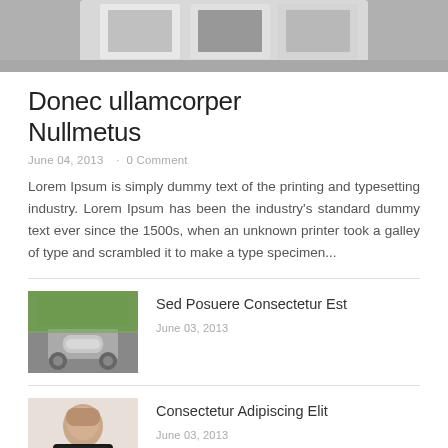[Figure (photo): Top cropped photo showing electronic devices/tablets on a white surface, grayscale/muted tones]
Donec ullamcorper Nullmetus
June 04, 2013  ·  0 Comment
Lorem Ipsum is simply dummy text of the printing and typesetting industry. Lorem Ipsum has been the industry's standard dummy text ever since the 1500s, when an unknown printer took a galley of type and scrambled it to make a type specimen...
[Figure (photo): Small thumbnail of a silver/grey sports car driving on a road, viewed from behind]
Sed Posuere Consectetur Est
June 03, 2013
[Figure (photo): Small thumbnail of a woman with dark hair, partially visible]
Consectetur Adipiscing Elit
June 03, 2013